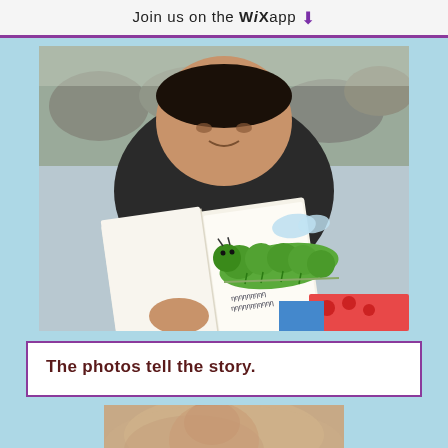Join us on the WiX app ↓
[Figure (photo): A young boy smiling and holding open a notebook/book showing a child's drawing of a green caterpillar with text written below it. The background shows rocky/outdoor terrain.]
The photos tell the story.
[Figure (photo): Partial view of a child, blurred/cropped, appearing to be leaning or resting.]